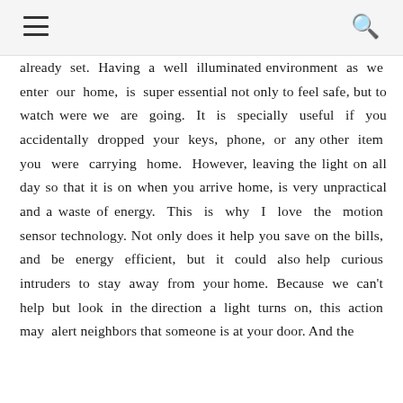≡   🔍
already set. Having a well illuminated environment as we enter our home, is super essential not only to feel safe, but to watch were we are going. It is specially useful if you accidentally dropped your keys, phone, or any other item you were carrying home. However, leaving the light on all day so that it is on when you arrive home, is very unpractical and a waste of energy. This is why I love the motion sensor technology. Not only does it help you save on the bills, and be energy efficient, but it could also help curious intruders to stay away from your home. Because we can't help but look in the direction a light turns on, this action may alert neighbors that someone is at your door. And the